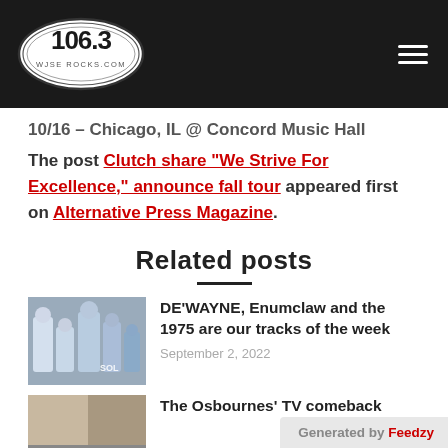106.3 WJSE ROCKS.COM
10/16 – Chicago, IL @ Concord Music Hall
The post Clutch share "We Strive For Excellence," announce fall tour appeared first on Alternative Press Magazine.
Related posts
[Figure (photo): Group photo of musicians/artists]
DE'WAYNE, Enumclaw and the 1975 are our tracks of the week
September 2, 2022
[Figure (photo): Thumbnail image for second related post]
The Osbournes' TV comeback
Generated by Feedzy